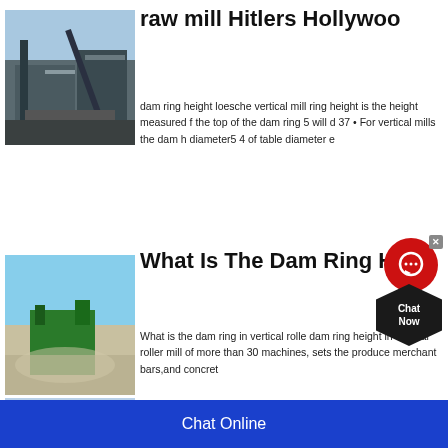raw mill Hitlers Hollywood
[Figure (photo): Industrial raw mill facility with conveyor belts and steel structure]
dam ring height loesche vertical mill ring height is the height measured from the top of the dam ring 5 will d 37 • For vertical mills the dam h diameter5 4 of table diameter e
[Figure (photo): Crushing machine operating outdoors with dust cloud and pile of crushed stones]
What Is The Dam Ring H
What is the dam ring in vertical rolle dam ring height in vertical roller mill of more than 30 machines, sets the produce merchant bars,and concret
[Figure (photo): Third image partially visible at bottom]
Height And Mill Perform
Chat Online